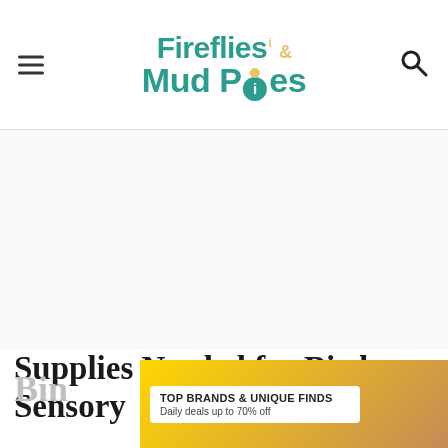Fireflies & Mud Pies
Supplies Needed for Bird Sensory Bin
[Figure (other): Advertisement banner: TOP BRANDS & UNIQUE FINDS. Daily deals up to 70% off. Shop Now. Zulily brand logo.]